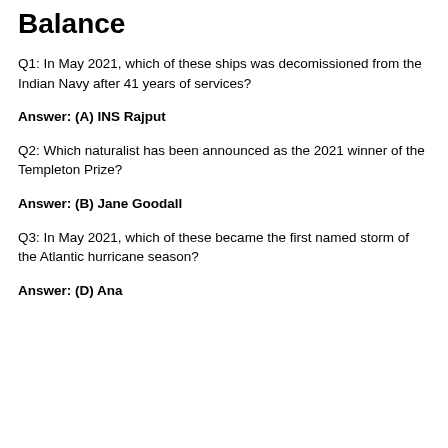Balance
Q1: In May 2021, which of these ships was decomissioned from the Indian Navy after 41 years of services?
Answer: (A) INS Rajput
Q2: Which naturalist has been announced as the 2021 winner of the Templeton Prize?
Answer: (B) Jane Goodall
Q3: In May 2021, which of these became the first named storm of the Atlantic hurricane season?
Answer: (D) Ana